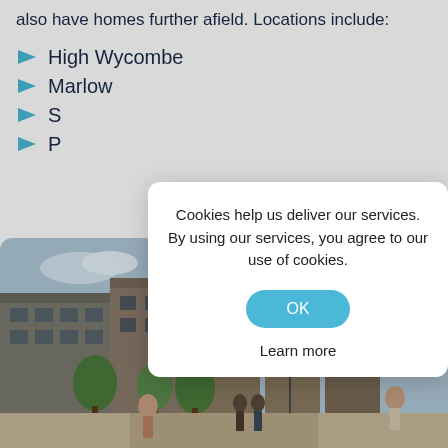also have homes further afield. Locations include:
High Wycombe
Marlow
S[obscured by modal]
P[obscured by modal]
[Figure (photo): Exterior view of modern residential apartment buildings and houses with people walking along a tree-lined pathway]
Cookies help us deliver our services. By using our services, you agree to our use of cookies.
OK
Learn more